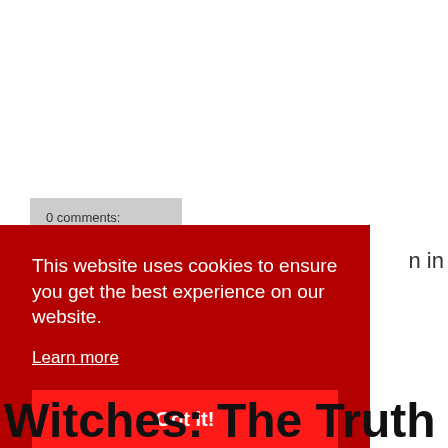0 comments:
in
This website uses cookies to ensure you get the best experience on our website. Learn more
Got it!
Witches: The Truth Behind